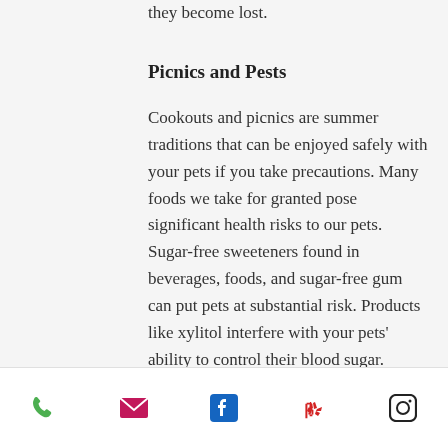they become lost.
Picnics and Pests
Cookouts and picnics are summer traditions that can be enjoyed safely with your pets if you take precautions. Many foods we take for granted pose significant health risks to our pets. Sugar-free sweeteners found in beverages, foods, and sugar-free gum can put pets at substantial risk. Products like xylitol interfere with your pets' ability to control their blood sugar. Raisins, grapes, onions, macadamia nuts, avocado, chocolate, coffee are considered poisonous and should be kept away from pets. Corn on the cob and any cooked food containing
phone | email | facebook | yelp | instagram